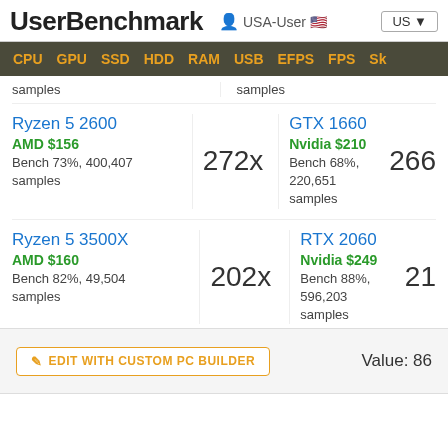UserBenchmark | USA-User | US
CPU GPU SSD HDD RAM USB EFPS FPS Sk
samples
samples
Ryzen 5 2600
AMD $156
Bench 73%, 400,407 samples
272x
GTX 1660
Nvidia $210
Bench 68%, 220,651 samples
266
Ryzen 5 3500X
AMD $160
Bench 82%, 49,504 samples
202x
RTX 2060
Nvidia $249
Bench 88%, 596,203 samples
21
EDIT WITH CUSTOM PC BUILDER | Value: 86